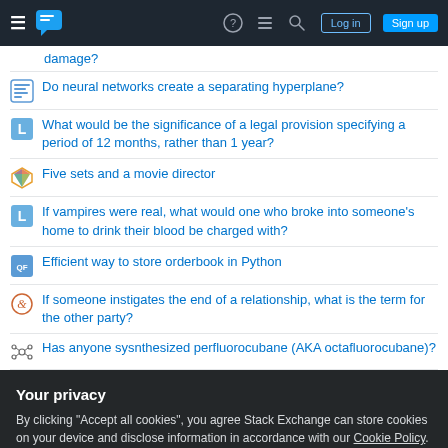Stack Exchange navigation bar with Log in and Sign up buttons
damage?
Do neural networks create a separating hyperplane?
What would be the significance of a legal provision specifying a period of 12 months, rather than 1 year?
Five sets and a movie director
If vampires were real, what would one who broke into someone's home to drink their blood be charged with?
Efficient way to store orderbook in Python
If someone instigates the end of a relationship, what is the term for the other party?
Has anyone sysnthesized perfluorocubane (AKA octafluorocubane)?
Your privacy
By clicking "Accept all cookies", you agree Stack Exchange can store cookies on your device and disclose information in accordance with our Cookie Policy.
Accept all cookies    Customize settings
Why does the opposing force differ in when falling on concrete vs on...